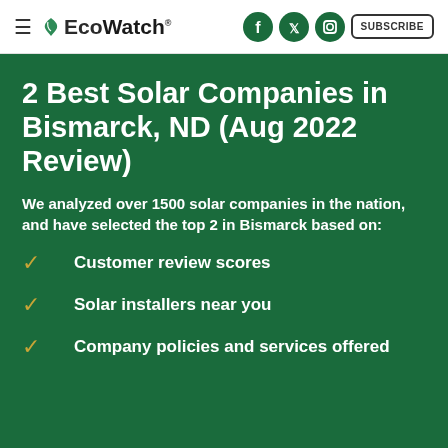EcoWatch — SUBSCRIBE
2 Best Solar Companies in Bismarck, ND (Aug 2022 Review)
We analyzed over 1500 solar companies in the nation, and have selected the top 2 in Bismarck based on:
Customer review scores
Solar installers near you
Company policies and services offered